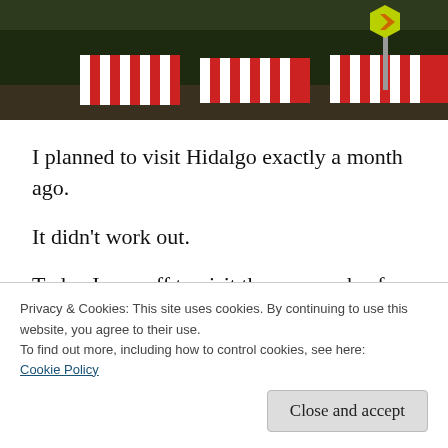[Figure (photo): Street scene photo showing market stalls with red and white striped awnings, dark trees in background, and a yellow hexagonal sign on a pole on the right side.]
I planned to visit Hidalgo exactly a month ago.
It didn’t work out.
Today I was off to visit the surrounds of another station, San Pedro De Los Pinos, when on the metro next to me I saw a young guy cradling a statue of Jude the Apostle (San Judas
Privacy & Cookies: This site uses cookies. By continuing to use this website, you agree to their use.
To find out more, including how to control cookies, see here:
Cookie Policy
Close and accept
The 28th of the month may not hold a great